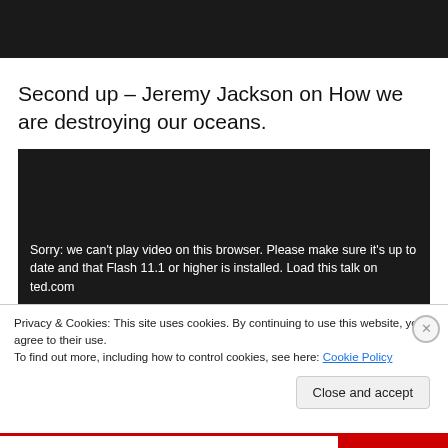[Figure (screenshot): Dark/black video player area at top of page]
Second up – Jeremy Jackson on How we are destroying our oceans.
[Figure (screenshot): Embedded video player showing error: Sorry: we can't play video on this browser. Please make sure it's up to date and that Flash 11.1 or higher is installed. Load this talk on ted.com]
Privacy & Cookies: This site uses cookies. By continuing to use this website, you agree to their use.
To find out more, including how to control cookies, see here: Cookie Policy
Close and accept